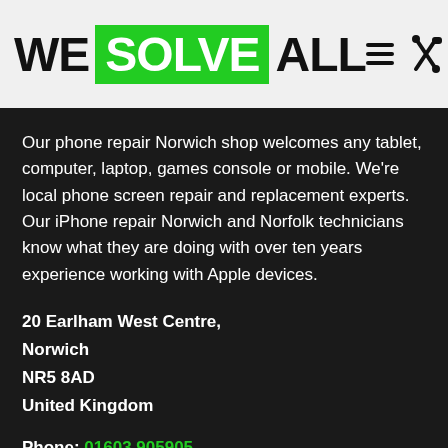WE SOLVE ALL
Our phone repair Norwich shop welcomes any tablet, computer, laptop, games console or mobile. We're local phone screen repair and replacement experts. Our iPhone repair Norwich and Norfolk technicians know what they are doing with over ten years experience working with Apple devices.
20 Earlham West Centre,
Norwich
NR5 8AD
United Kingdom
Phone: 01603 905905
COMPANY